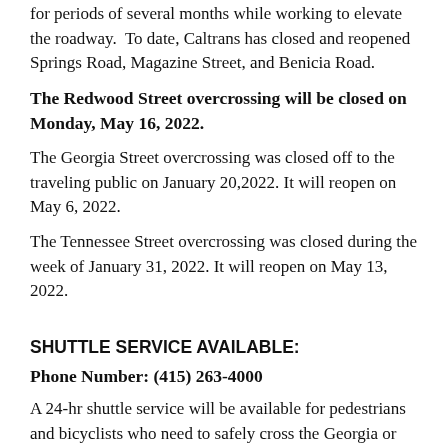for periods of several months while working to elevate the roadway. To date, Caltrans has closed and reopened Springs Road, Magazine Street, and Benicia Road.
The Redwood Street overcrossing will be closed on Monday, May 16, 2022.
The Georgia Street overcrossing was closed off to the traveling public on January 20,2022. It will reopen on May 6, 2022.
The Tennessee Street overcrossing was closed during the week of January 31, 2022. It will reopen on May 13, 2022.
SHUTTLE SERVICE AVAILABLE:
Phone Number: (415) 263-4000
A 24-hr shuttle service will be available for pedestrians and bicyclists who need to safely cross the Georgia or Tennessee street overcrossings. One shuttle stop will be located on each side of the bridge.